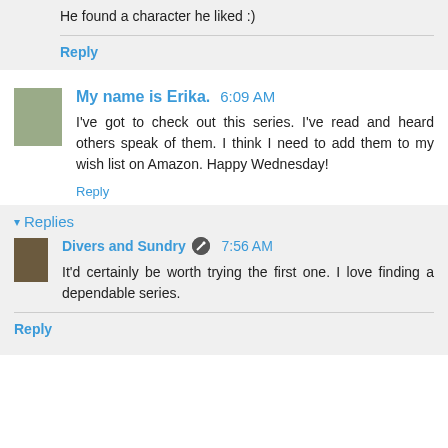He found a character he liked :)
Reply
My name is Erika.  6:09 AM
I've got to check out this series. I've read and heard others speak of them. I think I need to add them to my wish list on Amazon. Happy Wednesday!
Reply
Replies
Divers and Sundry  7:56 AM
It'd certainly be worth trying the first one. I love finding a dependable series.
Reply